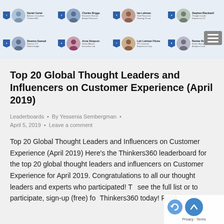[Figure (screenshot): Screenshot of a leaderboard webpage showing profile photos and names of top thought leaders arranged in two rows with rank badges, and a hamburger menu icon on the right]
Top 20 Global Thought Leaders and Influencers on Customer Experience (April 2019)
Leaderboards • By Yessenia Sembergman • April 5, 2019 • Leave a comment
Top 20 Global Thought Leaders and Influencers on Customer Experience (April 2019) Here's the Thinkers360 leaderboard for the top 20 global thought leaders and influencers on Customer Experience for April 2019. Congratulations to all our thought leaders and experts who participated! To see the full list or to participate, sign-up (free) for Thinkers360 today! Rank...